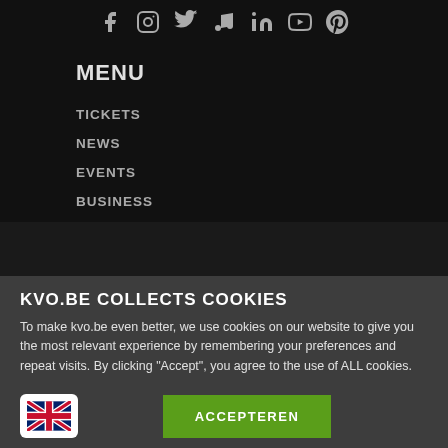[Figure (infographic): Row of social media icons: Facebook, Instagram, Twitter, TikTok/Music, LinkedIn, YouTube, Pinterest — displayed in grey on dark background]
MENU
TICKETS
NEWS
EVENTS
BUSINESS
KVO.BE COLLECTS COOKIES
To make kvo.be even better, we use cookies on our website to give you the most relevant experience by remembering your preferences and repeat visits. By clicking "Accept", you agree to the use of ALL cookies.
ACCEPTEREN
[Figure (illustration): UK/GB flag icon inside a white rounded rectangle, used as a language selector]